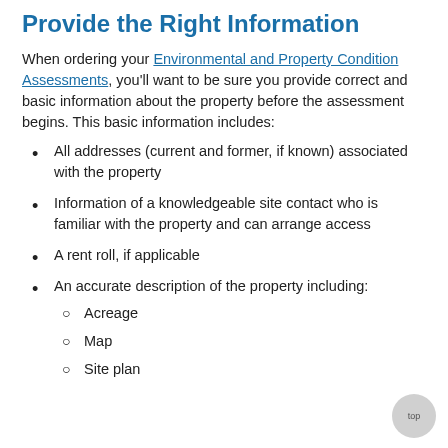Provide the Right Information
When ordering your Environmental and Property Condition Assessments, you'll want to be sure you provide correct and basic information about the property before the assessment begins. This basic information includes:
All addresses (current and former, if known) associated with the property
Information of a knowledgeable site contact who is familiar with the property and can arrange access
A rent roll, if applicable
An accurate description of the property including:
Acreage
Map
Site plan